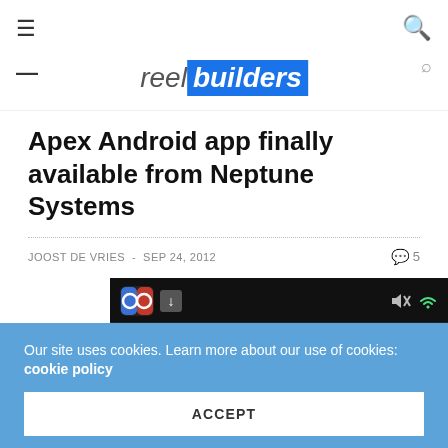reelbuilders
Apex Android app finally available from Neptune Systems
JOOST DE VRIES - SEP 24, 2012   5
[Figure (screenshot): Android app screenshot showing Apex app icon, download icon, muted speaker and wifi icons in status bar, then 'Apex' label and 'Amp_3' text on dark background]
Our site uses cookies. Learn more about our use of cookies: cookie policy
ACCEPT